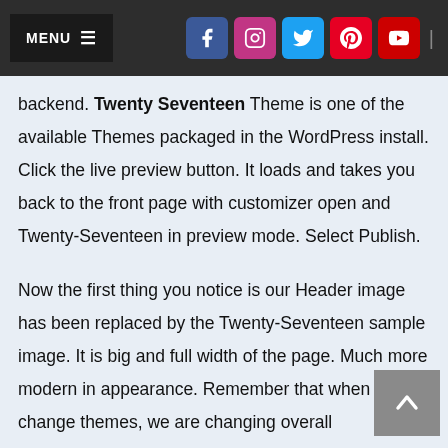MENU | Facebook | Instagram | Twitter | Pinterest | YouTube
backend. Twenty Seventeen Theme is one of the available Themes packaged in the WordPress install. Click the live preview button. It loads and takes you back to the front page with customizer open and Twenty-Seventeen in preview mode. Select Publish.

Now the first thing you notice is our Header image has been replaced by the Twenty-Seventeen sample image. It is big and full width of the page. Much more modern in appearance. Remember that when we change themes, we are changing overall appearance. The customizer menu options have changed a little, but we still have control over most areas with similar tab names. One thing